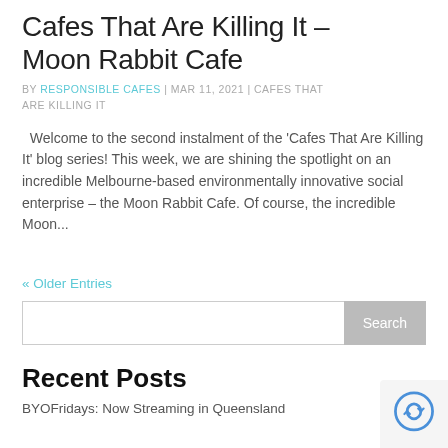Cafes That Are Killing It – Moon Rabbit Cafe
BY RESPONSIBLE CAFES | MAR 11, 2021 | CAFES THAT ARE KILLING IT
Welcome to the second instalment of the 'Cafes That Are Killing It' blog series! This week, we are shining the spotlight on an incredible Melbourne-based environmentally innovative social enterprise – the Moon Rabbit Cafe. Of course, the incredible Moon...
« Older Entries
Recent Posts
BYOFridays: Now Streaming in Queensland